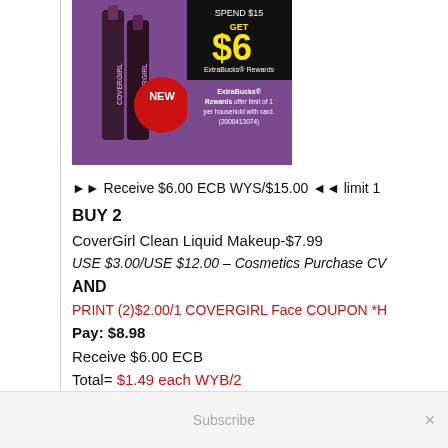[Figure (photo): CoverGirl product advertisement showing lipstick/makeup products with 'NEW' badge on purple background. Promo overlay: SPEND $15 GET $6 ExtraBucks Rewards. Fine print: ExtraBucks Rewards offer limit of 1 per household with card. (2000413074)]
►► Receive $6.00 ECB WYS/$15.00 ◄◄ limit 1
BUY 2
CoverGirl Clean Liquid Makeup-$7.99
USE $3.00/USE $12.00 – Cosmetics Purchase CV
AND
PRINT (2)$2.00/1 COVERGIRL Face COUPON *H
Pay: $8.98
Receive $6.00 ECB
Total= $1.49 each WYB/2
Subscribe